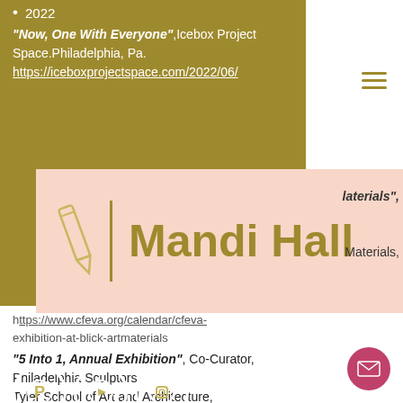2022
"Now, One With Everyone", Icebox Project Space. Philadelphia, Pa. https://iceboxprojectspace.com/2022/06/
[Figure (logo): Mandi Hall logo banner with pencil icon and pink background]
materials",
Materials,
Philadelphia, Pa.
https://www.cfeva.org/calendar/cfeva-exhibition-at-blick-artmaterials
"5 Into 1, Annual Exhibition", Co-Curator, Philadelphia Sculptors. Tyler School of Art and Architecture, Philadelphia, Pa.
2021
"Sugar and Spice", CORE Gallery ,Lancaster Pa. https://stayhappening.com/e/online-exhibition-sugar-andampspice-core-gallery-pennsylvania-college-of-art-andamp-design-